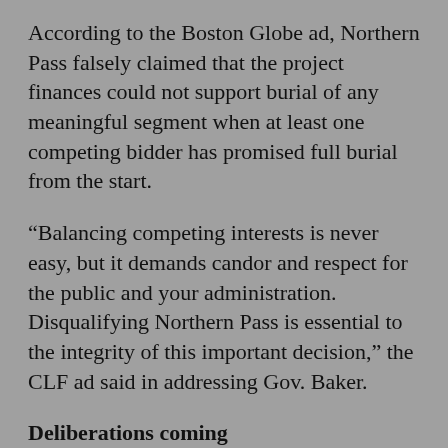According to the Boston Globe ad, Northern Pass falsely claimed that the project finances could not support burial of any meaningful segment when at least one competing bidder has promised full burial from the start.
“Balancing competing interests is never easy, but it demands candor and respect for the public and your administration. Disqualifying Northern Pass is essential to the integrity of this important decision,” the CLF ad said in addressing Gov. Baker.
Deliberations coming
The Conservation Law Foundation is an intervenor opposed to the proposal that is presently before the New Hampshire Site Evaluation Committee. Seventy evidentiary hearings have been held on Northern Pass’ application and the committee is scheduled to begin 12 days of public